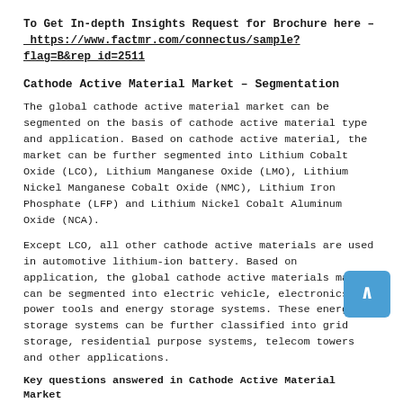To Get In-depth Insights Request for Brochure here – https://www.factmr.com/connectus/sample?flag=B&rep_id=2511
Cathode Active Material Market – Segmentation
The global cathode active material market can be segmented on the basis of cathode active material type and application. Based on cathode active material, the market can be further segmented into Lithium Cobalt Oxide (LCO), Lithium Manganese Oxide (LMO), Lithium Nickel Manganese Cobalt Oxide (NMC), Lithium Iron Phosphate (LFP) and Lithium Nickel Cobalt Aluminum Oxide (NCA).
Except LCO, all other cathode active materials are used in automotive lithium-ion battery. Based on application, the global cathode active materials market can be segmented into electric vehicle, electronics, power tools and energy storage systems. These energy storage systems can be further classified into grid storage, residential purpose systems, telecom towers and other applications.
Key questions answered in Cathode Active Material Market